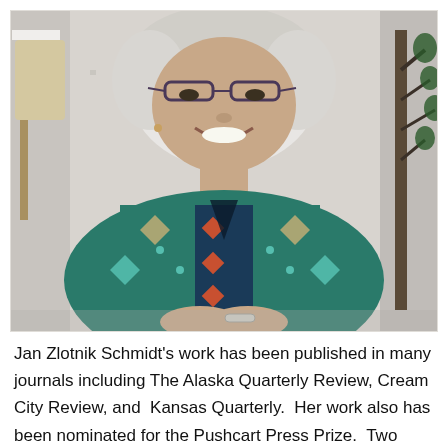[Figure (photo): Portrait photo of Jan Zlotnik Schmidt, an older woman with short curly white/gray hair and glasses, smiling, wearing a colorful patterned teal/blue tunic with geometric designs. She is seated with hands clasped, with a tree and light-colored wall visible in the background.]
Jan Zlotnik Schmidt's work has been published in many journals including The Alaska Quarterly Review, Cream City Review, and  Kansas Quarterly.  Her work also has been nominated for the Pushcart Press Prize.  Two